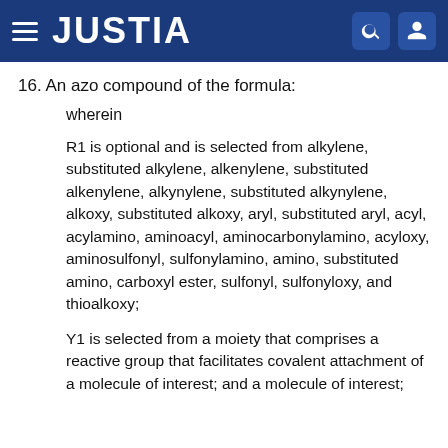JUSTIA
16. An azo compound of the formula:
wherein
R1 is optional and is selected from alkylene, substituted alkylene, alkenylene, substituted alkenylene, alkynylene, substituted alkynylene, alkoxy, substituted alkoxy, aryl, substituted aryl, acyl, acylamino, aminoacyl, aminocarbonylamino, acyloxy, aminosulfonyl, sulfonylamino, amino, substituted amino, carboxyl ester, sulfonyl, sulfonyloxy, and thioalkoxy;
Y1 is selected from a moiety that comprises a reactive group that facilitates covalent attachment of a molecule of interest; and a molecule of interest;